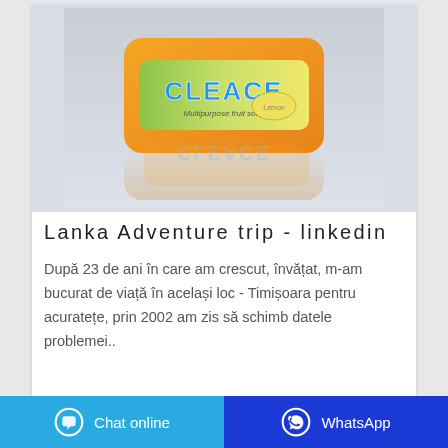[Figure (photo): Product photo of CLEACE Multipurpose Fruit Soap bar in orange/yellow packaging with lemon design, shown with its reflection on a light surface]
Lanka Adventure trip - linkedin
După 23 de ani în care am crescut, învățat, m-am bucurat de viață în același loc - Timișoara pentru acuratețe, prin 2002 am zis să schimb datele problemei..
Chat online   WhatsApp